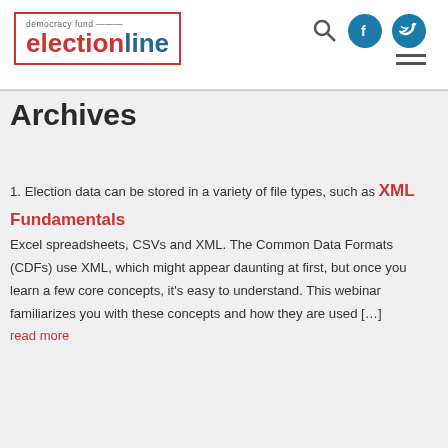[Figure (logo): Democracy Fund electionline logo in a red-bordered box with small text 'democracy fund' above bold bicolor 'election' (red) 'line' (blue) text]
Archives
Election data can be stored in a variety of file types, such as XML Fundamentals Excel spreadsheets, CSVs and XML. The Common Data Formats (CDFs) use XML, which might appear daunting at first, but once you learn a few core concepts, it's easy to understand. This webinar familiarizes you with these concepts and how they are used […]
read more